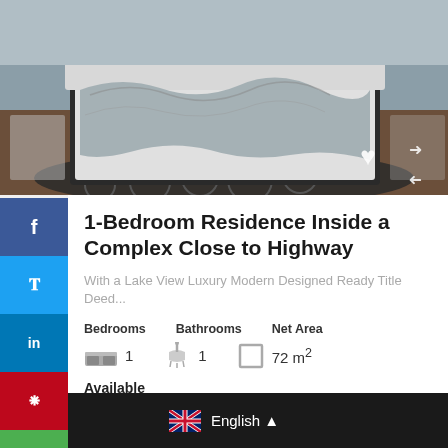[Figure (photo): Bedroom photo showing a white bed with grey rumpled sheets on a dark wooden floor with a dark patterned rug]
1-Bedroom Residence Inside a Complex Close to Highway
With a Lake View Luxury Modern Designed Ready Title Deed...
| Bedrooms | Bathrooms | Net Area |
| --- | --- | --- |
| 1 | 1 | 72 m² |
Available
$84,000 – $96,000
English